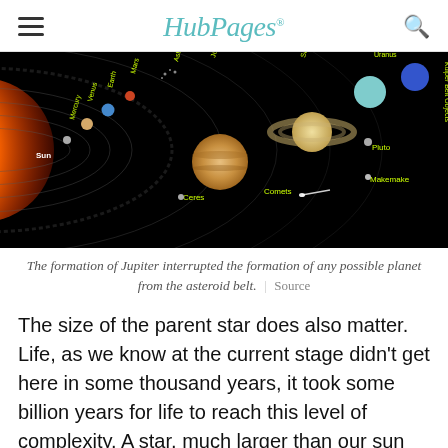HubPages
[Figure (illustration): Diagram of the solar system showing the Sun on the left, planets in order (Mercury, Venus, Earth, Mars, Asteroid Belt, Jupiter, Saturn, Uranus, Neptune), Ceres, Comets, Pluto, Makemake, and Kuiper Belt Objects labeled in yellow text on a black background.]
The formation of Jupiter interrupted the formation of any possible planet from the asteroid belt. | Source
The size of the parent star does also matter. Life, as we know at the current stage didn't get here in some thousand years, it took some billion years for life to reach this level of complexity. A star, much larger than our sun might not have those many years to its life, and expecting it to provide a planet with the opportunity to host life is beyond its